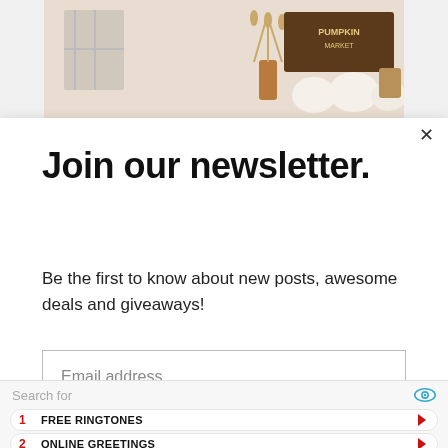[Figure (photo): Partial top of a decorative autumn/fall home decor image showing pumpkins, dried wheat, and a sign.]
Join our newsletter.
Be the first to know about new posts, awesome deals and giveaways!
Email address
Subscribe
Search for
1  FREE RINGTONES
2  ONLINE GREETINGS